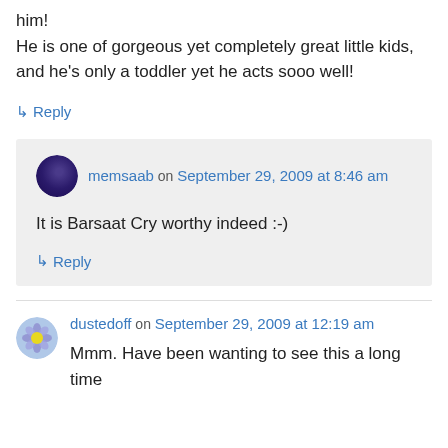him!
He is one of gorgeous yet completely great little kids, and he's only a toddler yet he acts sooo well!
↳ Reply
memsaab on September 29, 2009 at 8:46 am
It is Barsaat Cry worthy indeed :-)
↳ Reply
dustedoff on September 29, 2009 at 12:19 am
Mmm. Have been wanting to see this a long time